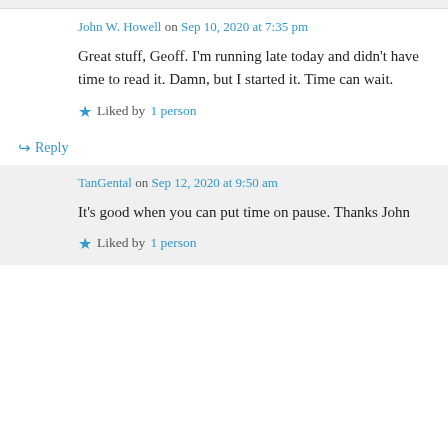John W. Howell on Sep 10, 2020 at 7:35 pm
Great stuff, Geoff. I'm running late today and didn't have time to read it. Damn, but I started it. Time can wait.
Liked by 1 person
↳ Reply
TanGental on Sep 12, 2020 at 9:50 am
It's good when you can put time on pause. Thanks John
Liked by 1 person